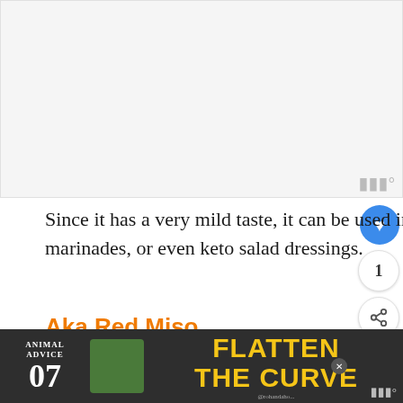[Figure (photo): Placeholder image area, light gray background]
Since it has a very mild taste, it can be used in dips, marinades, or even keto salad dressings.
Aka Red Miso
Red Miso is made by fermenting soybeans, barley, and other grains. It has a very strong flavor and just ha... at great
[Figure (screenshot): Bottom advertisement banner: ANIMAL ADVICE 07 / FLATTEN THE CURVE / @rohandaho...]